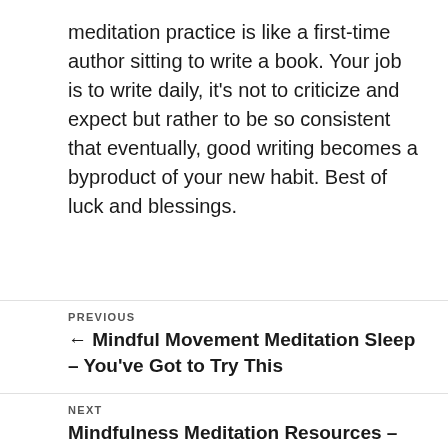meditation practice is like a first-time author sitting to write a book. Your job is to write daily, it's not to criticize and expect but rather to be so consistent that eventually, good writing becomes a byproduct of your new habit. Best of luck and blessings.
PREVIOUS
← Mindful Movement Meditation Sleep – You've Got to Try This
NEXT
Mindfulness Meditation Resources – You've Got